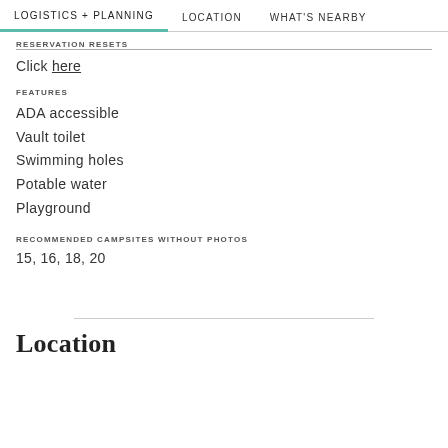LOGISTICS + PLANNING   LOCATION   WHAT'S NEARBY
RESERVATION RESETS
Click here
FEATURES
ADA accessible
Vault toilet
Swimming holes
Potable water
Playground
RECOMMENDED CAMPSITES WITHOUT PHOTOS
15, 16, 18, 20
Location